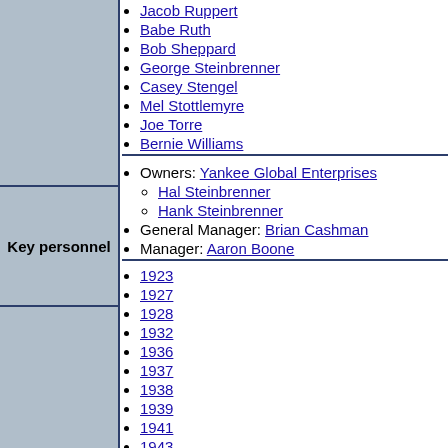Jacob Ruppert
Babe Ruth
Bob Sheppard
George Steinbrenner
Casey Stengel
Mel Stottlemyre
Joe Torre
Bernie Williams
Key personnel
Owners: Yankee Global Enterprises
Hal Steinbrenner
Hank Steinbrenner
General Manager: Brian Cashman
Manager: Aaron Boone
1923
1927
1928
1932
1936
1937
1938
1939
1941
1943